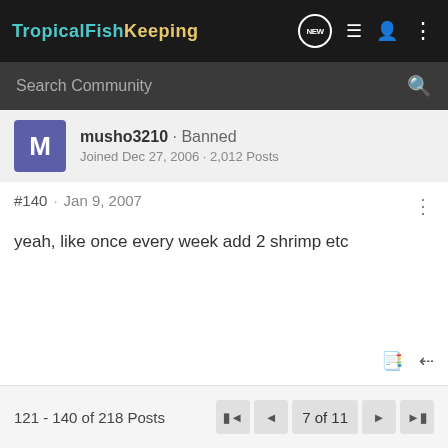TropicalFishKeeping
Search Community
musho3210 · Banned
Joined Dec 27, 2006 · 2,012 Posts
#140 · Jan 9, 2007
yeah, like once every week add 2 shrimp etc
121 - 140 of 218 Posts | 7 of 11